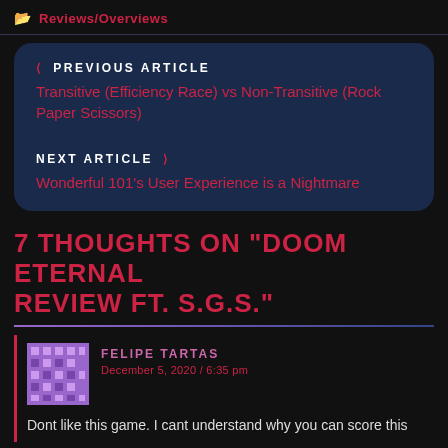Reviews/Overviews
< PREVIOUS ARTICLE
Transitive (Efficiency Race) vs Non-Transitive (Rock Paper Scissors)

NEXT ARTICLE >
Wonderful 101's User Experience is a Nightmare
7 THOUGHTS ON "DOOM ETERNAL REVIEW FT. S.G.S."
FELIPE TARTAS
December 5, 2020 / 6:35 pm
Dont like this game. I cant understand why you can score this